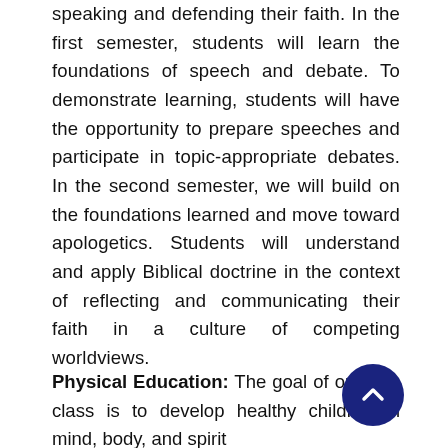speaking and defending their faith. In the first semester, students will learn the foundations of speech and debate. To demonstrate learning, students will have the opportunity to prepare speeches and participate in topic-appropriate debates. In the second semester, we will build on the foundations learned and move toward apologetics. Students will understand and apply Biblical doctrine in the context of reflecting and communicating their faith in a culture of competing worldviews.
Physical Education: The goal of our P.E. class is to develop healthy children in mind, body, and spirit